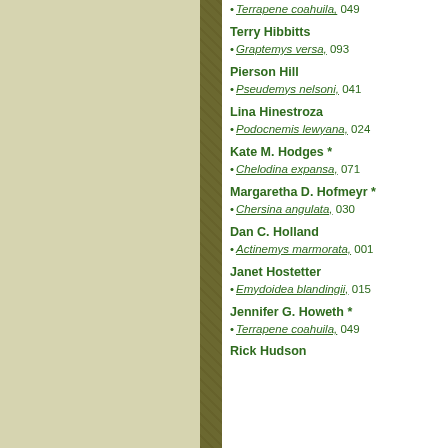Terrapene coahuila, 049
Terry Hibbitts
• Graptemys versa, 093
Pierson Hill
• Pseudemys nelsoni, 041
Lina Hinestroza
• Podocnemis lewyana, 024
Kate M. Hodges *
• Chelodina expansa, 071
Margaretha D. Hofmeyr *
• Chersina angulata, 030
Dan C. Holland
• Actinemys marmorata, 001
Janet Hostetter
• Emydoidea blandingii, 015
Jennifer G. Howeth *
• Terrapene coahuila, 049
Rick Hudson